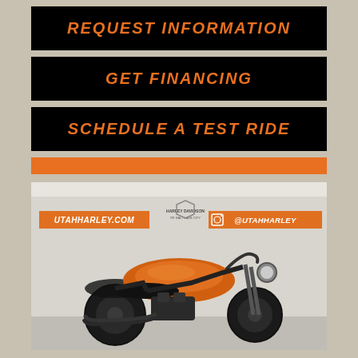REQUEST INFORMATION
GET FINANCING
SCHEDULE A TEST RIDE
SEE MORE DETAILS
[Figure (photo): Harley-Davidson motorcycle (orange and black) displayed in a dealership showroom. Overlaid text banners show UTAHHARLEY.COM on the left, Harley Davidson of Salt Lake City logo in the center, and @UTAHHARLEY on the right.]